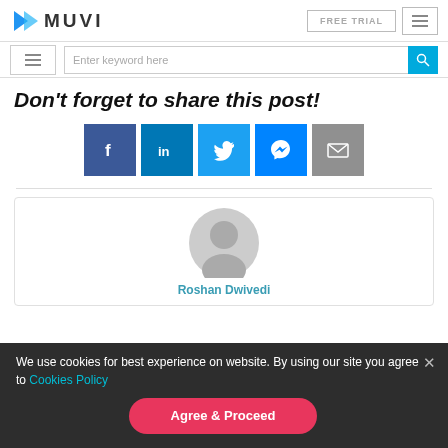MUVI — FREE TRIAL
Enter keyword here
Don't forget to share this post!
[Figure (infographic): Social share buttons: Facebook, LinkedIn, Twitter, Messenger, Email]
[Figure (photo): Default user avatar circle icon]
Roshan Dwivedi
We use cookies for best experience on website. By using our site you agree to Cookies Policy
Agree & Proceed